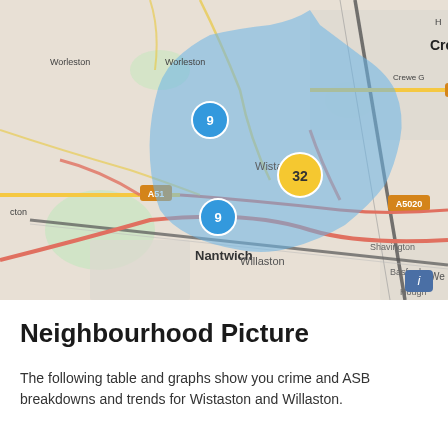[Figure (map): Interactive map showing Wistaston and Willaston neighbourhood area near Crewe and Nantwich. A large blue shaded region covers the Wistaston/Willaston area. Three cluster markers are visible: a yellow circle with '32' in the centre of the blue area, and two blue circles each showing '9' — one to the upper-left and one to the lower area. Place names visible include Worleston, Crewe, Crewe G, A532, A51, A5020, Wistaston, Willaston, Nantwich, Shavington, Basford, Hough, cton. An info button ('i') appears in the lower right corner.]
Neighbourhood Picture
The following table and graphs show you crime and ASB breakdowns and trends for Wistaston and Willaston.